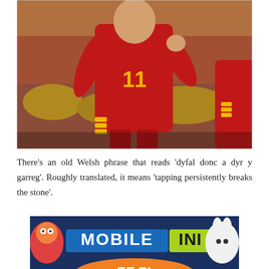[Figure (photo): Football player wearing red Wales jersey number 11 celebrating with fist pump, crowd in background with yellow high-visibility jackets]
There’s an old Welsh phrase that reads ‘dyfal donc a dyr y garreg’. Roughly translated, it means ‘tapping persistently breaks the stone’.
[Figure (logo): Mobile Ini advertisement banner with colorful cartoon characters and text MOBILE INI with partial text FREE PL below]